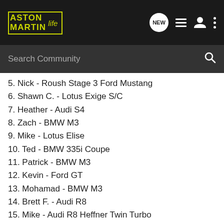Aston Martin Life — Navigation bar with logo, NEW chat button, list icon, user icon, menu icon
Search Community
5. Nick - Roush Stage 3 Ford Mustang
6. Shawn C. - Lotus Exige S/C
7. Heather - Audi S4
8. Zach - BMW M3
9. Mike - Lotus Elise
10. Ted - BMW 335i Coupe
11. Patrick - BMW M3
12. Kevin - Ford GT
13. Mohamad - BMW M3
14. Brett F. - Audi R8
15. Mike - Audi R8 Heffner Twin Turbo
16. Rani - Dodge Viper
17. Sam - Lamborghini Murcielago LP-640
18. Rich - Porsche 911 Turbo
19. Mac - Porsche 911 Turbo Stage 2